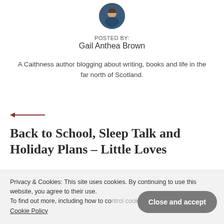[Figure (photo): Circular avatar photo of author Gail Anthea Brown, showing a person with dark clothing against a blurred background.]
POSTED BY:
Gail Anthea Brown
A Caithness author blogging about writing, books and life in the far north of Scotland.
[Figure (illustration): A horizontal arrow pointing left, rendered in dark red/brown color.]
Back to School, Sleep Talk and Holiday Plans – Little Loves
Privacy & Cookies: This site uses cookies. By continuing to use this website, you agree to their use.
To find out more, including how to co… Cookie Policy
Close and accept